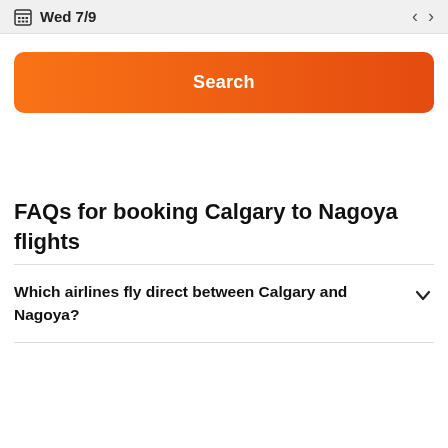Wed 7/9
Search
FAQs for booking Calgary to Nagoya flights
Which airlines fly direct between Calgary and Nagoya?